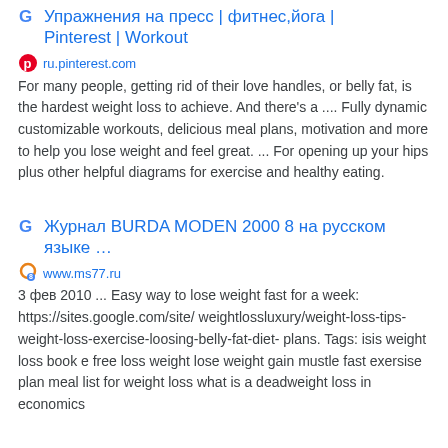Упражнения на пресс | фитнес,йога | Pinterest | Workout
ru.pinterest.com
For many people, getting rid of their love handles, or belly fat, is the hardest weight loss to achieve. And there's a .... Fully dynamic customizable workouts, delicious meal plans, motivation and more to help you lose weight and feel great. ... For opening up your hips plus other helpful diagrams for exercise and healthy eating.
Журнал BURDA MODEN 2000 8 на русском языке …
www.ms77.ru
3 фев 2010 ... Easy way to lose weight fast for a week: https://sites.google.com/site/ weightlossluxury/weight-loss-tips-weight-loss-exercise-loosing-belly-fat-diet- plans. Tags: isis weight loss book e free loss weight lose weight gain mustle fast exersise plan meal list for weight loss what is a deadweight loss in economics